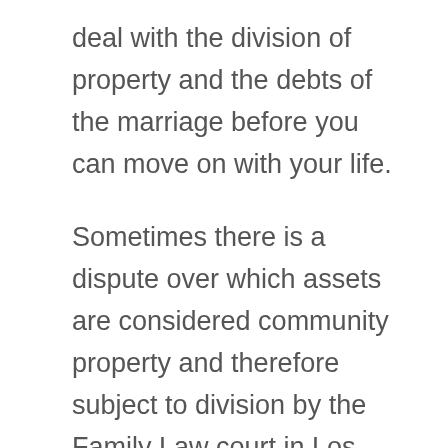deal with the division of property and the debts of the marriage before you can move on with your life.
Sometimes there is a dispute over which assets are considered community property and therefore subject to division by the Family Law court in Los Angeles vs. assets and debts that are separate property. Similarly, there can be a scenario where one spouse earns significantly more than the other spouse and dictates most of the community estate and one of the biggest assets could be the non earning spouses right to support.